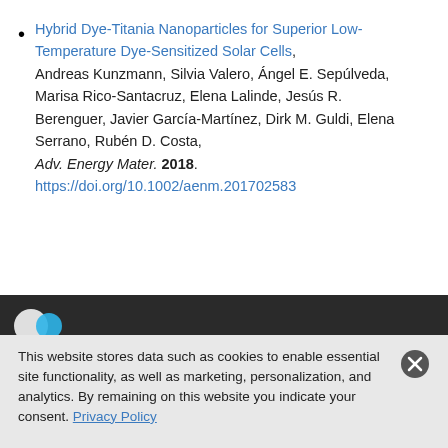Hybrid Dye-Titania Nanoparticles for Superior Low-Temperature Dye-Sensitized Solar Cells, Andreas Kunzmann, Silvia Valero, Ángel E. Sepúlveda, Marisa Rico-Santacruz, Elena Lalinde, Jesús R. Berenguer, Javier García-Martínez, Dirk M. Guldi, Elena Serrano, Rubén D. Costa, Adv. Energy Mater. 2018. https://doi.org/10.1002/aenm.201702583
[Figure (photo): Dark strip showing partial image with two overlapping circles (white and blue) on the left side against a dark background.]
This website stores data such as cookies to enable essential site functionality, as well as marketing, personalization, and analytics. By remaining on this website you indicate your consent. Privacy Policy